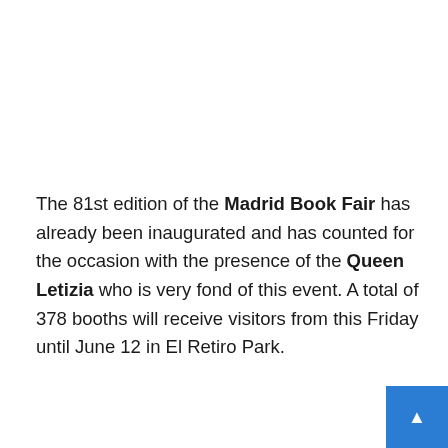The 81st edition of the Madrid Book Fair has already been inaugurated and has counted for the occasion with the presence of the Queen Letizia who is very fond of this event. A total of 378 booths will receive visitors from this Friday until June 12 in El Retiro Park.
She was dressed in a fuchsia dress that she had already worn for the first time last year at the opening of an exhibition of Berlanga. And he has chosen espadrilles, ideal footwear for walking and touring the Fair.
One of the stops has been made at booth 236 from where a specimen has been taken that is none other than the wild girl/the debut of the scientist and naturalist, Delia Owens. It is